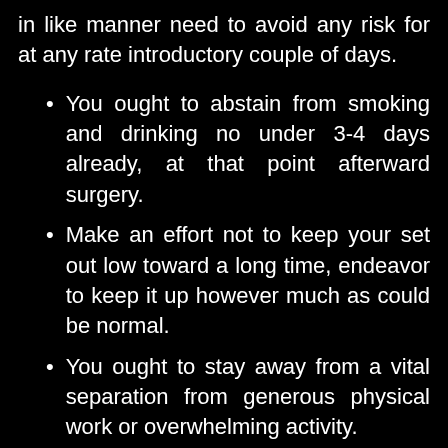in like manner need to avoid any risk for at any rate introductory couple of days.
You ought to abstain from smoking and drinking no under 3-4 days already, at that point afterward surgery.
Make an effort not to keep your set out low toward a long time, endeavor to keep it up however much as could be normal.
You ought to stay away from a vital separation from generous physical work or overwhelming activity.
You can similarly use an additional pad to keep your nose in upright position.